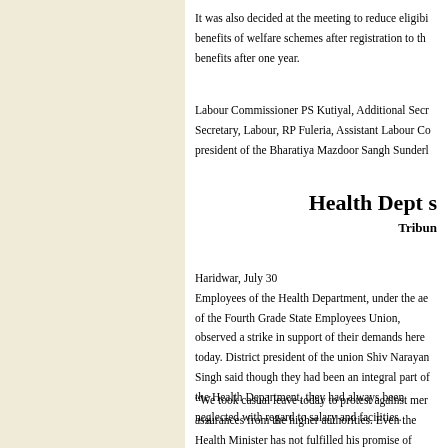It was also decided at the meeting to reduce eligibi... benefits of welfare schemes after registration to th... benefits after one year.
Labour Commissioner PS Kutiyal, Additional Secr... Secretary, Labour, RP Fuleria, Assistant Labour Co... president of the Bharatiya Mazdoor Sangh Sunderl...
Health Dept s
Tribune
Haridwar, July 30
Employees of the Health Department, under the ae... of the Fourth Grade State Employees Union, observed a strike in support of their demands here today. District president of the union Shiv Narayan Singh said though they had been an integral part of the Health Department, they had always been neglected with regard to salary and facilities.
“We took casual leave today to protest against mer... assurances from the higher authorities. Even the Health Minister has not fulfilled his promise of add...